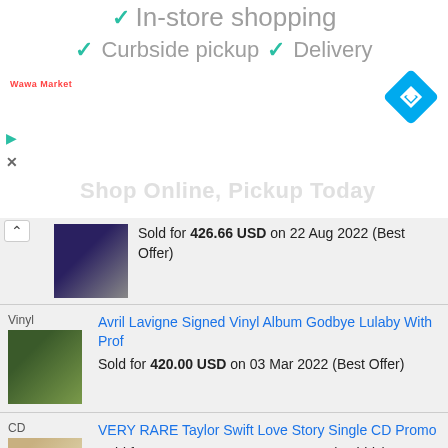[Figure (screenshot): Ad banner showing store services: In-store shopping, Curbside pickup, Delivery with teal checkmarks, Wawa Market logo, navigation diamond icon, play/close buttons, and Shop Online Pickup Today text]
Sold for 426.66 USD on 22 Aug 2022 (Best Offer)
Avril Lavigne Signed Vinyl Album Godbye Lulaby With Prof
Sold for 420.00 USD on 03 Mar 2022 (Best Offer)
VERY RARE Taylor Swift Love Story Single CD Promo
Sold for 420.00 USD on 02 Aug 2019 (27 bids)
Naruto Best Collection - 2xLP Vinyl Bleu - Limited Edition Sasuke (Blue) 1/250
Sold for 411.57 USD on 05 Apr 2022 (Best Offer)